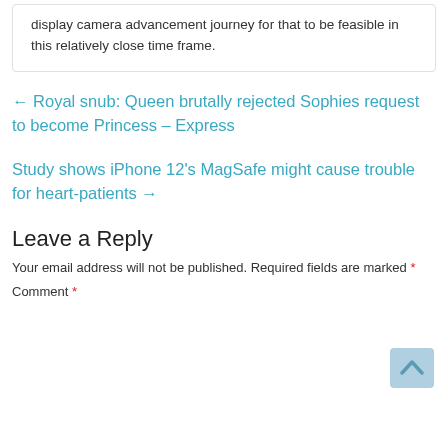display camera advancement journey for that to be feasible in this relatively close time frame.
← Royal snub: Queen brutally rejected Sophies request to become Princess – Express
Study shows iPhone 12's MagSafe might cause trouble for heart-patients →
Leave a Reply
Your email address will not be published. Required fields are marked *
Comment *